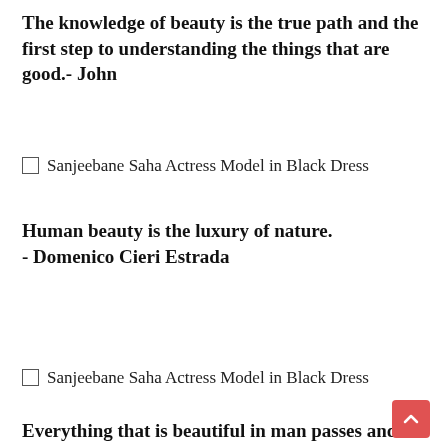The knowledge of beauty is the true path and the first step to understanding the things that are good.- John
Sanjeebane Saha Actress Model in Black Dress
Human beauty is the luxury of nature.
- Domenico Cieri Estrada
Sanjeebane Saha Actress Model in Black Dress
Everything that is beautiful in man passes and